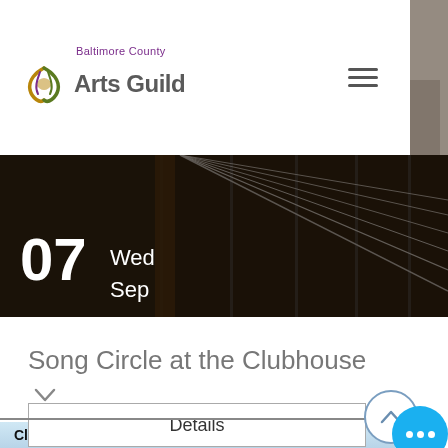[Figure (screenshot): Baltimore County Arts Guild website header with logo and hamburger menu]
[Figure (photo): Close-up photo of guitar fretboard/strings in dark tones]
07 Wed Sep
Song Circle at the Clubhouse
Details
Classic & Contemporary Celtic Music